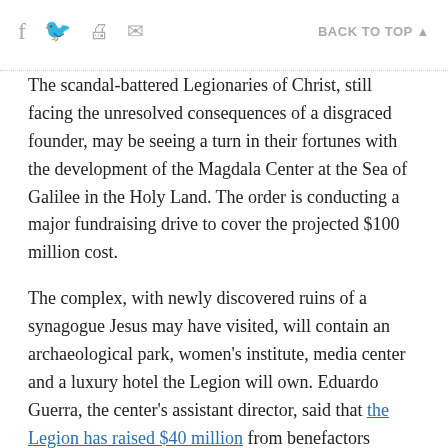f  🐦  🖨  ✉  BACK TO TOP ▲
The scandal-battered Legionaries of Christ, still facing the unresolved consequences of a disgraced founder, may be seeing a turn in their fortunes with the development of the Magdala Center at the Sea of Galilee in the Holy Land. The order is conducting a major fundraising drive to cover the projected $100 million cost.
The complex, with newly discovered ruins of a synagogue Jesus may have visited, will contain an archaeological park, women's institute, media center and a luxury hotel the Legion will own. Eduardo Guerra, the center's assistant director, said that the Legion has raised $40 million from benefactors toward the finished work.
Whether the center can overcome its founder's